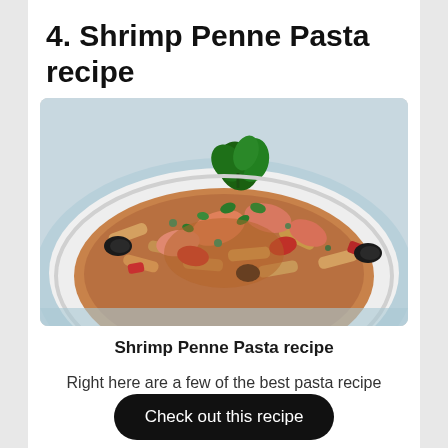4. Shrimp Penne Pasta recipe
[Figure (photo): Bowl of shrimp penne pasta with olives, tomatoes, and fresh herbs garnish on a white plate]
Shrimp Penne Pasta recipe
Right here are a few of the best pasta recipe concepts for any event:
Check out this recipe